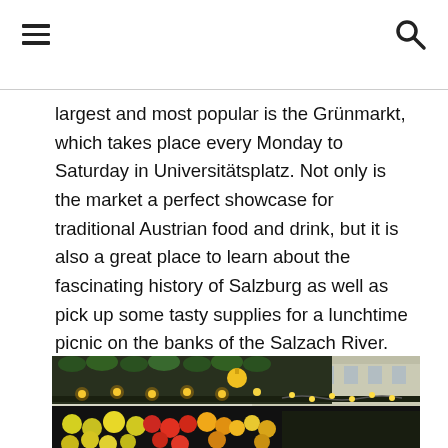≡ [hamburger menu] [search icon]
largest and most popular is the Grünmarkt, which takes place every Monday to Saturday in Universitätsplatz. Not only is the market a perfect showcase for traditional Austrian food and drink, but it is also a great place to learn about the fascinating history of Salzburg as well as pick up some tasty supplies for a lunchtime picnic on the banks of the Salzach River. On Friday mornings, Kajetanerplatz hosts Salzburg's original organic farmers' markets and this pedestrian-friendly area is a great place to sample some locally made cheeses, meats, and pastries.
[Figure (photo): Photo of a market stall decorated with greenery and lights, with colorful produce displayed at the bottom, and a building visible in the background.]